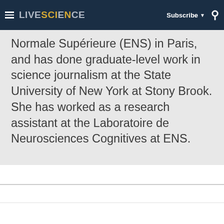LIVESCIENCE — Subscribe — Search
Normale Supérieure (ENS) in Paris, and has done graduate-level work in science journalism at the State University of New York at Stony Brook. She has worked as a research assistant at the Laboratoire de Neurosciences Cognitives at ENS.